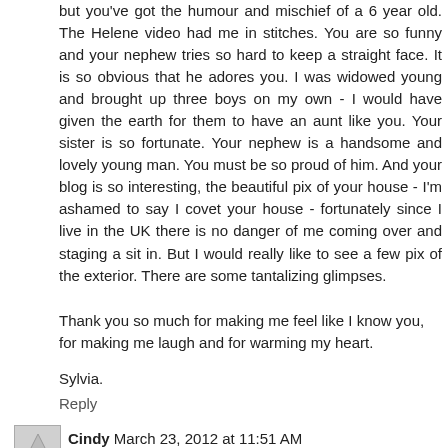but you've got the humour and mischief of a 6 year old. The Helene video had me in stitches. You are so funny and your nephew tries so hard to keep a straight face. It is so obvious that he adores you. I was widowed young and brought up three boys on my own - I would have given the earth for them to have an aunt like you. Your sister is so fortunate. Your nephew is a handsome and lovely young man. You must be so proud of him. And your blog is so interesting, the beautiful pix of your house - I'm ashamed to say I covet your house - fortunately since I live in the UK there is no danger of me coming over and staging a sit in. But I would really like to see a few pix of the exterior. There are some tantalizing glimpses.
Thank you so much for making me feel like I know you, for making me laugh and for warming my heart.
Sylvia.
Reply
Cindy March 23, 2012 at 11:51 AM